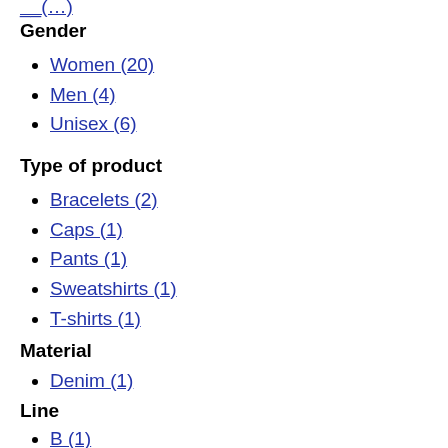Gender
Women (20)
Men (4)
Unisex (6)
Type of product
Bracelets (2)
Caps (1)
Pants (1)
Sweatshirts (1)
T-shirts (1)
Material
Denim (1)
Line
B (1)
BB (2)